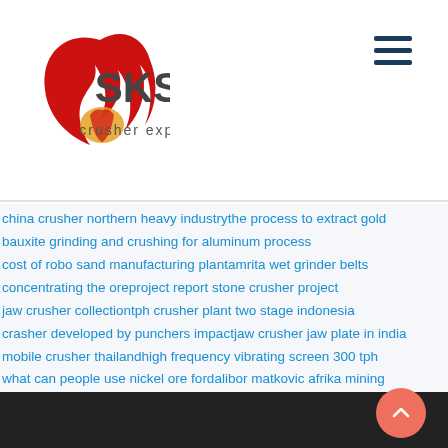[Figure (logo): SKS crusher expert logo with red swirl emblem and dark grey SKS text]
china crusher northern heavy industrythе process to extract gold
bauxite grinding and crushing for aluminum process
cost of robo sand manufacturing plantamrita wet grinder belts
concentrating the oreproject report stone crusher project
jaw crusher collectiontph crusher plant two stage indonesia
crasher developed by punchers impactjaw crusher jaw plate in india
mobile crusher thailandhigh frequency vibrating screen 300 tph
what can people use nickel ore fordalibor matkovic afrika mining
belt grinder for saleimpact crushers sweden
general purpose tool grinding machinesmall ore impack mills